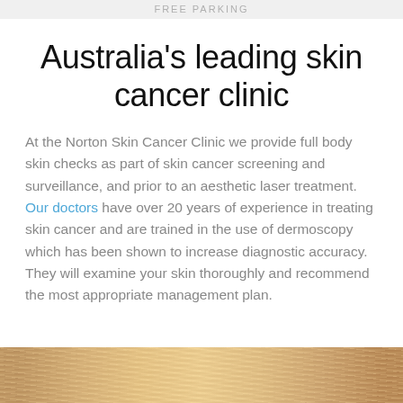FREE PARKING
Australia's leading skin cancer clinic
At the Norton Skin Cancer Clinic we provide full body skin checks as part of skin cancer screening and surveillance, and prior to an aesthetic laser treatment. Our doctors have over 20 years of experience in treating skin cancer and are trained in the use of dermoscopy which has been shown to increase diagnostic accuracy. They will examine your skin thoroughly and recommend the most appropriate management plan.
[Figure (photo): Close-up photo of a person with blonde/golden hair, partially visible at the bottom of the page]